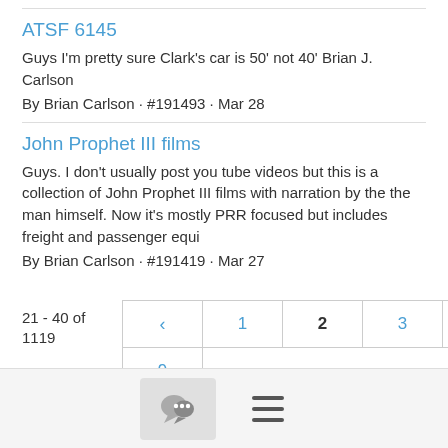ATSF 6145
Guys I'm pretty sure Clark's car is 50' not 40' Brian J. Carlson
By Brian Carlson · #191493 · Mar 28
John Prophet III films
Guys. I don't usually post you tube videos but this is a collection of John Prophet III films with narration by the the man himself. Now it's mostly PRR focused but includes freight and passenger equi
By Brian Carlson · #191419 · Mar 27
21 - 40 of 1119
[Figure (other): Pagination control with page numbers: back arrow, 1, 2 (current/bold), 3, 4, 5, 6, 7, 8, 9, forward arrow]
[Figure (other): Footer bar with chat bubble icon button and hamburger menu icon]